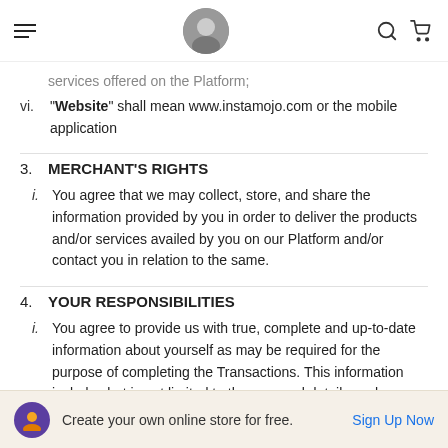Navigation header with menu, logo/avatar, search and cart icons
services offered on the Platform;
vi. “Website” shall mean www.instamojo.com or the mobile application
3. MERCHANT'S RIGHTS
i. You agree that we may collect, store, and share the information provided by you in order to deliver the products and/or services availed by you on our Platform and/or contact you in relation to the same.
4. YOUR RESPONSIBILITIES
i. You agree to provide us with true, complete and up-to-date information about yourself as may be required for the purpose of completing the Transactions. This information includes but is not limited to the personal details such as name, email address, phone
Create your own online store for free. Sign Up Now